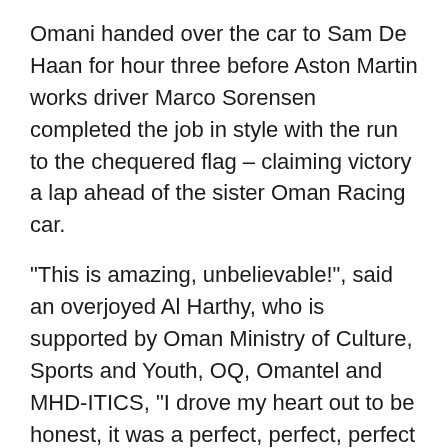Omani handed over the car to Sam De Haan for hour three before Aston Martin works driver Marco Sorensen completed the job in style with the run to the chequered flag – claiming victory a lap ahead of the sister Oman Racing car.
“This is amazing, unbelievable!”, said an overjoyed Al Harthy, who is supported by Oman Ministry of Culture, Sports and Youth, OQ, Omantel and MHD-ITICS, “I drove my heart out to be honest, it was a perfect, perfect, perfect race for us. It was extremely challenging throughout, Sarah [Bovy] in the Ferrari was always pushing me and it was just a matter of who could clear and pass traffic better.
“The team did a great job, we were able to really control the strategy very well – that was the reason for a great win. Both Sam and Marco gave me to work and let me work and